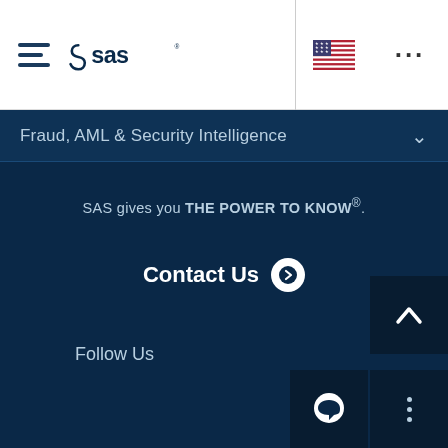[Figure (logo): SAS logo with hamburger menu icon in white header bar]
Fraud, AML & Security Intelligence
SAS gives you THE POWER TO KNOW®.
Contact Us
Follow Us